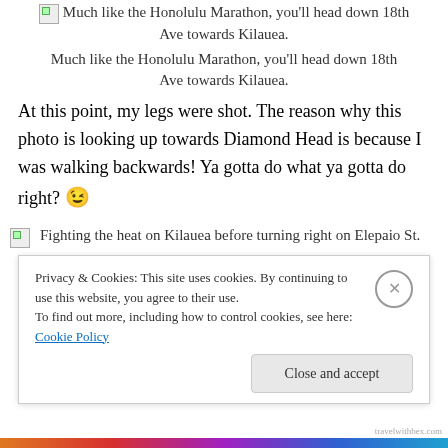Much like the Honolulu Marathon, you'll head down 18th Ave towards Kilauea.
Much like the Honolulu Marathon, you'll head down 18th Ave towards Kilauea.
At this point, my legs were shot. The reason why this photo is looking up towards Diamond Head is because I was walking backwards! Ya gotta do what ya gotta do right? 😉
Fighting the heat on Kilauea before turning right on Elepaio St.
Privacy & Cookies: This site uses cookies. By continuing to use this website, you agree to their use.
To find out more, including how to control cookies, see here: Cookie Policy